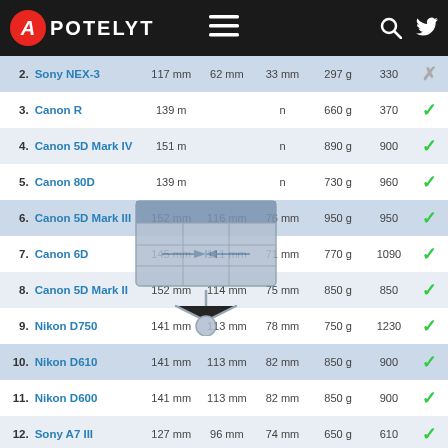APOTELYT
| # | Camera | Width | Height | Depth | Weight | Shots |  |
| --- | --- | --- | --- | --- | --- | --- | --- |
| 2. | Sony NEX-3 | 117 mm | 62 mm | 33 mm | 297 g | 330 | ✗ |
| 3. | Canon R | 139 m |  | n | 660 g | 370 | ✓ |
| 4. | Canon 5D Mark IV | 151 m |  | n | 890 g | 900 | ✓ |
| 5. | Canon 80D | 139 m |  | n | 730 g | 960 | ✓ |
| 6. | Canon 5D Mark III | 152 mm | 116 mm | 76 mm | 950 g | 950 | ✓ |
| 7. | Canon 6D | 145 mm | 111 mm | 71 mm | 770 g | 1090 | ✓ |
| 8. | Canon 5D Mark II | 152 mm | 114 mm | 75 mm | 850 g | 850 | ✓ |
| 9. | Nikon D750 | 141 mm | 113 mm | 78 mm | 750 g | 1230 | ✓ |
| 10. | Nikon D610 | 141 mm | 113 mm | 82 mm | 850 g | 900 | ✓ |
| 11. | Nikon D600 | 141 mm | 113 mm | 82 mm | 850 g | 900 | ✓ |
| 12. | Sony A7 III | 127 mm | 96 mm | 74 mm | 650 g | 610 | ✓ |
| 13. | Sony A5100 | 110 mm | 63 mm | 36 mm | 283 g | 400 | ✗ |